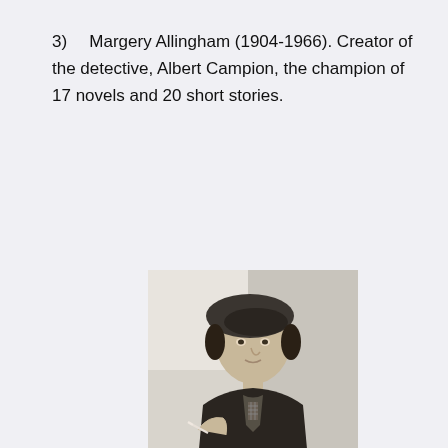3)  Margery Allingham (1904-1966). Creator of the detective, Albert Campion, the champion of 17 novels and 20 short stories.
[Figure (photo): Black and white portrait photograph of Margery Allingham, a woman wearing a dark beret hat, looking slightly to one side, holding what appears to be a cigarette, dressed in dark clothing with a patterned tie/scarf.]